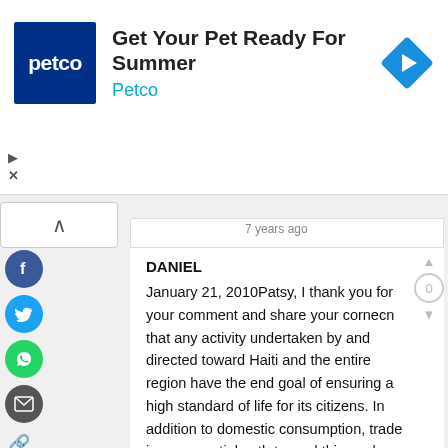[Figure (screenshot): Petco advertisement banner showing Petco logo (dark blue square with white 'petco' text), headline 'Get Your Pet Ready For Summer', 'Petco' in blue text, and a blue diamond-shaped arrow icon on the right. Small play and X controls bottom-left.]
[Figure (screenshot): Web comment section screenshot showing social sharing sidebar icons (Facebook, Twitter, WhatsApp, email), a '7 years ago' timestamp, an expand/collapse button, and a comment by DANIEL dated January 21, 2010 reading: 'Patsy, I thank you for your comment and share your cornecn that any activity undertaken by and directed toward Haiti and the entire region have the end goal of ensuring a high standard of life for its citizens. In addition to domestic consumption, trade is an essential path toward this goal, particularly']
7 years ago
DANIEL
January 21, 2010Patsy, I thank you for your comment and share your cornecn that any activity undertaken by and directed toward Haiti and the entire region have the end goal of ensuring a high standard of life for its citizens. In addition to domestic consumption, trade is an essential path toward this goal, particularly